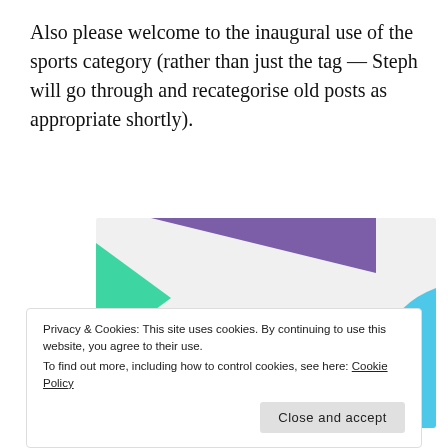Also please welcome to the inaugural use of the sports category (rather than just the tag — Steph will go through and recategorise old posts as appropriate shortly).
[Figure (illustration): Promotional image with purple and green geometric shapes, a blue arc, and bold text reading 'How to start selling subscriptions online' with a purple button below.]
Privacy & Cookies: This site uses cookies. By continuing to use this website, you agree to their use.
To find out more, including how to control cookies, see here: Cookie Policy
[Close and accept button]